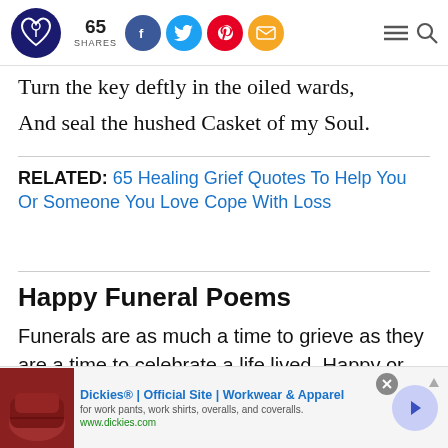65 SHARES
Turn the key deftly in the oiled wards,
And seal the hushed Casket of my Soul.
RELATED: 65 Healing Grief Quotes To Help You Or Someone You Love Cope With Loss
Happy Funeral Poems
Funerals are as much a time to grieve as they are a time to celebrate a life lived. Happy or
[Figure (other): Advertisement banner for Dickies Official Site - Workwear & Apparel, with image of red leather chair, showing text 'Dickies® | Official Site | Workwear & Apparel', 'for work pants, work shirts, overalls, and coveralls.', 'www.dickies.com']